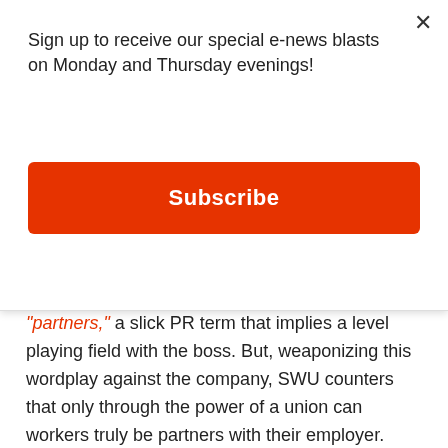Sign up to receive our special e-news blasts on Monday and Thursday evenings!
Subscribe
“partners,” a slick PR term that implies a level playing field with the boss. But, weaponizing this wordplay against the company, SWU counters that only through the power of a union can workers truly be partners with their employer. “Partners becoming partners” has become a central theme of its organizing strategy.
Another aspect of the successful unionizing streak that may have caught Starbucks off guard is that most workers are relatively young and extremely cognizant of the social and political conditions under which they have come of age. “They’re all young people who are growing